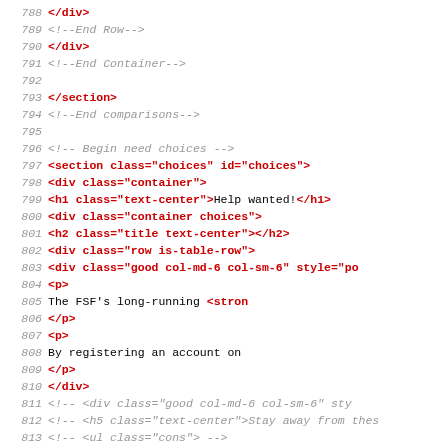Source code listing lines 788-819 showing HTML markup with comments
[Figure (screenshot): Code editor view showing HTML source code lines 788 through 819, with line numbers in gray italic, HTML tags in red bold, comments in gray italic, and plain text in black monospace font.]